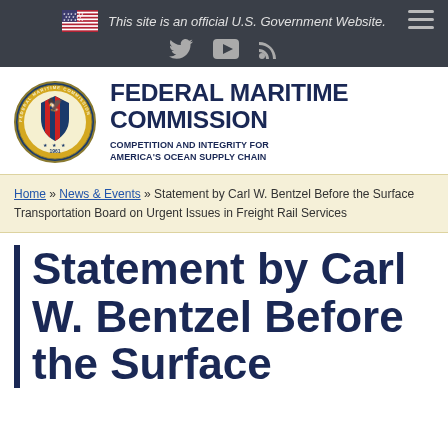This site is an official U.S. Government Website.
[Figure (logo): Federal Maritime Commission seal/logo with text FEDERAL MARITIME COMMISSION and tagline COMPETITION AND INTEGRITY FOR AMERICA'S OCEAN SUPPLY CHAIN]
Home » News & Events » Statement by Carl W. Bentzel Before the Surface Transportation Board on Urgent Issues in Freight Rail Services
Statement by Carl W. Bentzel Before the Surface